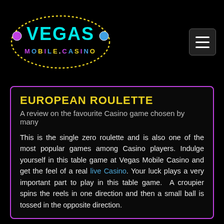[Figure (logo): Vegas Mobile Casino neon logo with colorful oval sign]
EUROPEAN ROULETTE
A review on the favourite Casino game chosen by many
This is the single zero roulette and is also one of the most popular games among Casino players. Indulge yourself in this table game at Vegas Mobile Casino and get the feel of a real live Casino. Your luck plays a very important part to play in this table game. A croupier spins the reels in one direction and then a small ball is tossed in the opposite direction.
Raise yourself and embrace the riches and surprises you can be rewarded within European Roulette. Bet wisely to win this table game and make sure your focus stays on the fortune of wheels.